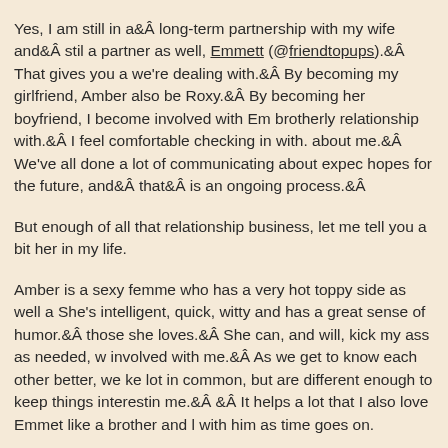Yes, I am still in aÂ long-term partnership with my wife andÂ still have a partner as well, Emmett (@friendtopups).Â  That gives you a sense of what we're dealing with.Â  By becoming my girlfriend, Amber also be comes involved with Roxy.Â  By becoming her boyfriend, I become involved with Emmett, who I have a brotherly relationship with.Â  I feel comfortable checking in with him about how he feels about me.Â  We've all done a lot of communicating about expectations, boundaries and hopes for the future, andÂ thatÂ is an ongoing process.Â
But enough of all that relationship business, let me tell you a bit about why I wanted her in my life.
Amber is a sexy femme who has a very hot toppy side as well as a submissive side. She's intelligent, quick, witty and has a great sense of humor.Â  She is fiercely loyal to those she loves.Â  She can, and will, kick my ass as needed, which is part of why I got involved with me.Â  As we get to know each other better, we keep discovering we have a lot in common, but are different enough to keep things interesting for both of us, for me.Â Â  It helps a lot that I also love Emmet like a brother and look forward to growing with him as time goes on.
As with any relationship, Amber and I have our challenges but we aren't going to give up easily.Â Â  She and Emmett live far enough away that we are long distance and seeing each other in person is going to be a rare thing for the time being, so we're relying on our shared interests, shared attraction and shared love toÂ c...